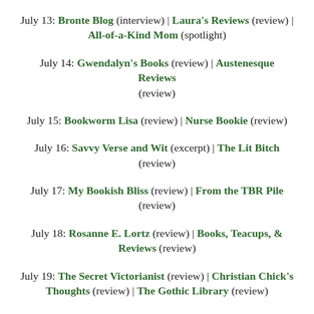July 13: Bronte Blog (interview) | Laura's Reviews (review) | All-of-a-Kind Mom (spotlight)
July 14: Gwendalyn's Books (review) | Austenesque Reviews (review)
July 15: Bookworm Lisa (review) | Nurse Bookie (review)
July 16: Savvy Verse and Wit (excerpt) | The Lit Bitch (review)
July 17: My Bookish Bliss (review) | From the TBR Pile (review)
July 18: Rosanne E. Lortz (review) | Books, Teacups, & Reviews (review)
July 19: The Secret Victorianist (review) | Christian Chick's Thoughts (review) | The Gothic Library (review)